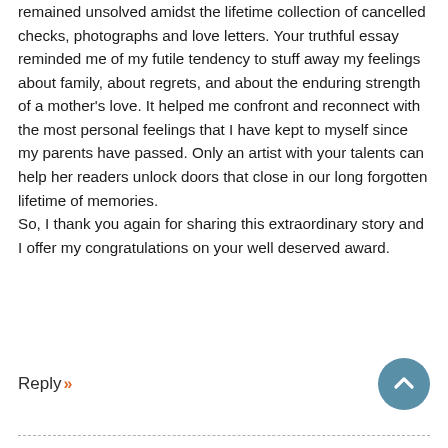remained unsolved amidst the lifetime collection of cancelled checks, photographs and love letters. Your truthful essay reminded me of my futile tendency to stuff away my feelings about family, about regrets, and about the enduring strength of a mother's love. It helped me confront and reconnect with the most personal feelings that I have kept to myself since my parents have passed. Only an artist with your talents can help her readers unlock doors that close in our long forgotten lifetime of memories.
So, I thank you again for sharing this extraordinary story and I offer my congratulations on your well deserved award.
Reply »